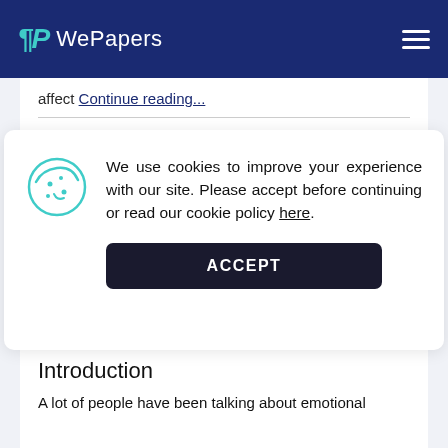WePapers
affect Continue reading...
art
hospitality
museum
europe
artists
time
experience
chastity
We use cookies to improve your experience with our site. Please accept before continuing or read our cookie policy here.
Introduction
A lot of people have been talking about emotional